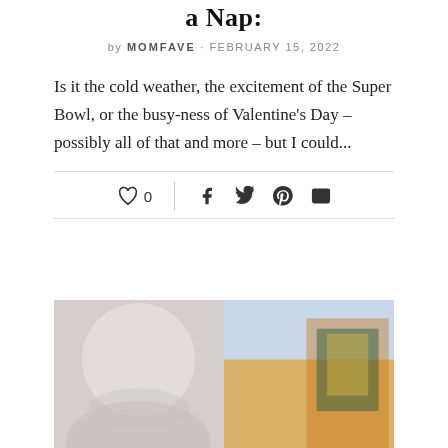a Nap:
by MOMFAVE · FEBRUARY 15, 2022
Is it the cold weather, the excitement of the Super Bowl, or the busy-ness of Valentine's Day – possibly all of that and more – but I could...
[Figure (photo): Two side-by-side photos: left photo shows a person in white clothing, right photo shows a colorful scene with bright colors]